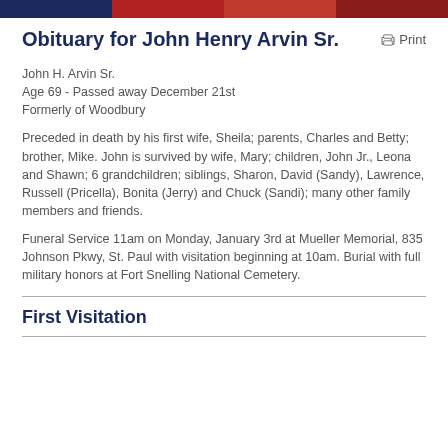Obituary for John Henry Arvin Sr.
John H. Arvin Sr.
Age 69 - Passed away December 21st
Formerly of Woodbury
Preceded in death by his first wife, Sheila; parents, Charles and Betty; brother, Mike. John is survived by wife, Mary; children, John Jr., Leona and Shawn; 6 grandchildren; siblings, Sharon, David (Sandy), Lawrence, Russell (Pricella), Bonita (Jerry) and Chuck (Sandi); many other family members and friends.
Funeral Service 11am on Monday, January 3rd at Mueller Memorial, 835 Johnson Pkwy, St. Paul with visitation beginning at 10am. Burial with full military honors at Fort Snelling National Cemetery.
First Visitation